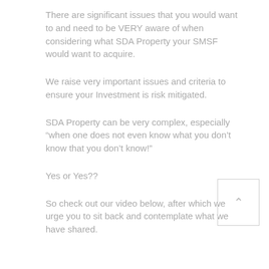There are significant issues that you would want to and need to be VERY aware of when considering what SDA Property your SMSF would want to acquire.
We raise very important issues and criteria to ensure your Investment is risk mitigated.
SDA Property can be very complex, especially "when one does not even know what you don't know that you don't know!"
Yes or Yes??
So check out our video below, after which we urge you to sit back and contemplate what we have shared.
[Figure (other): Scroll-to-top button with upward arrow chevron, positioned in bottom-right area]